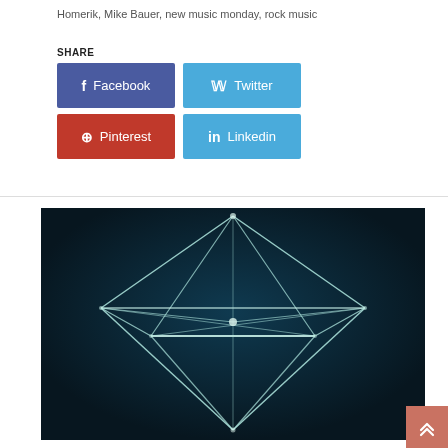Homerik, Mike Bauer, new music monday, rock music
SHARE
[Figure (screenshot): Social share buttons: Facebook (blue-purple), Twitter (light blue), Pinterest (red), Linkedin (light blue)]
[Figure (photo): Dark teal-toned photo of a geometric diamond/octahedron wireframe structure with white light lines on dark background]